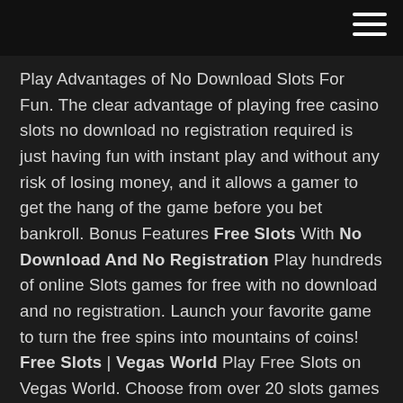Play Advantages of No Download Slots For Fun. The clear advantage of playing free casino slots no download no registration required is just having fun with instant play and without any risk of losing money, and it allows a gamer to get the hang of the game before you bet bankroll. Bonus Features Free Slots With No Download And No Registration Play hundreds of online Slots games for free with no download and no registration. Launch your favorite game to turn the free spins into mountains of coins! Free Slots | Vegas World Play Free Slots on Vegas World. Choose from over 20 slots games in Vegas World and win the Jackpot! Play free slots games including Jewelbox Jackpot slots, Mystic Millions slots, Shoebox slots, and many more. Also, get bonus Coins in your free spins and unlock new free